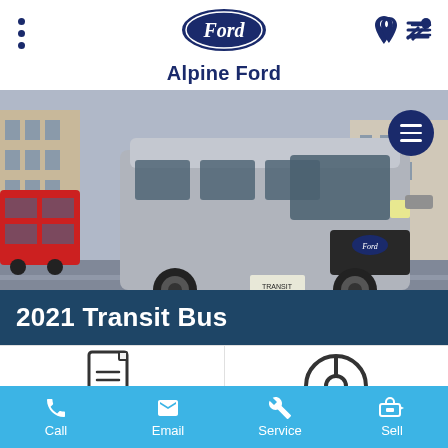[Figure (logo): Ford oval logo in dark navy blue with Ford script text in white]
Alpine Ford
[Figure (photo): 2021 Ford Transit Bus van driving on city street, silver color, urban background with red double-decker bus]
2021 Transit Bus
[Figure (other): Document/details icon - outline of document with lines]
[Figure (other): Steering wheel icon]
Call  Email  Service  Sell